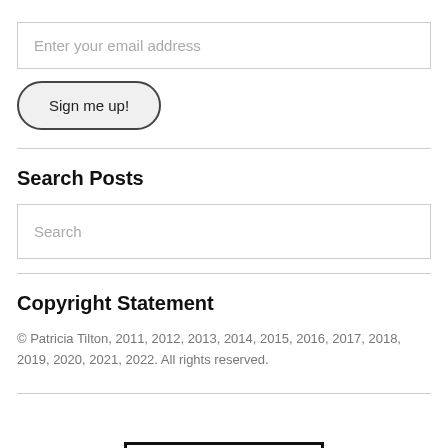Enter your email address
Sign me up!
Search Posts
Search
Copyright Statement
© Patricia Tilton, 2011, 2012, 2013, 2014, 2015, 2016, 2017, 2018, 2019, 2020, 2021, 2022. All rights reserved.
[Figure (other): Partial black-bordered rectangle visible at bottom of page]